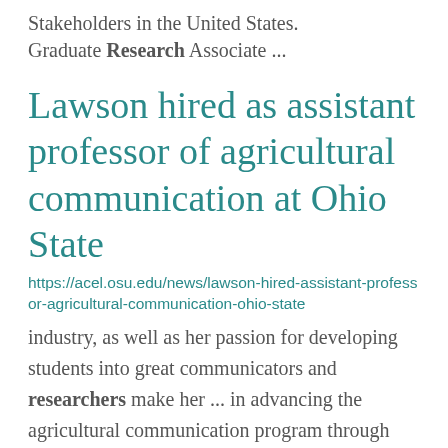Stakeholders in the United States. Graduate Research Associate ...
Lawson hired as assistant professor of agricultural communication at Ohio State
https://acel.osu.edu/news/lawson-hired-assistant-professor-agricultural-communication-ohio-state
industry, as well as her passion for developing students into great communicators and researchers make her ... in advancing the agricultural communication program through teaching and research by teaching ... forward to engaging students and stakeholders in